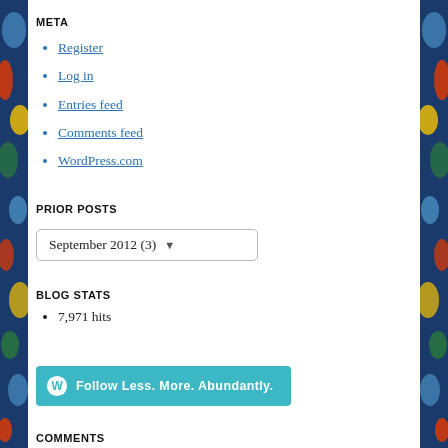META
Register
Log in
Entries feed
Comments feed
WordPress.com
PRIOR POSTS
September 2012  (3)
BLOG STATS
7,971 hits
[Figure (other): Follow Less. More. Abundantly. button with WordPress logo]
COMMENTS